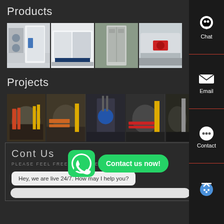Products
[Figure (photo): Strip of 4 product photos showing industrial equipment: compressors, large white industrial units, server/control cabinets, and a red industrial machine]
Projects
[Figure (photo): Strip of 5 project photos showing industrial boiler rooms and equipment installations with pipes and large tanks]
[Figure (screenshot): WhatsApp icon button with 'Contact us now!' green pill overlay]
Contact Us
PLEASE FEEL FREE TO LEAVE ANY MESSAGE THA
Hey, we are live 24/7. How may I help you?
[Figure (infographic): Chat sidebar with Chat, Email, Contact and chatbot icons on dark background]